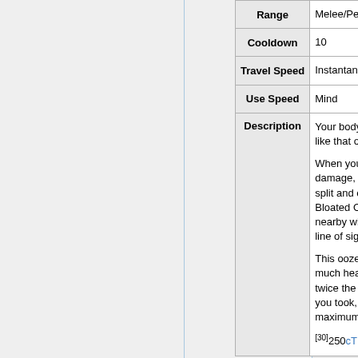|  |  |
| --- | --- |
| Range | Melee/Person |
| Cooldown | 10 |
| Travel Speed | Instantaneou |
| Use Speed | Mind |
| Description | Your body is like that of an

When you tak damage, you split and crea Bloated Ooze nearby within line of sight.

This ooze ha much health twice the dam you took, up maximum of

[30]250cTMD |